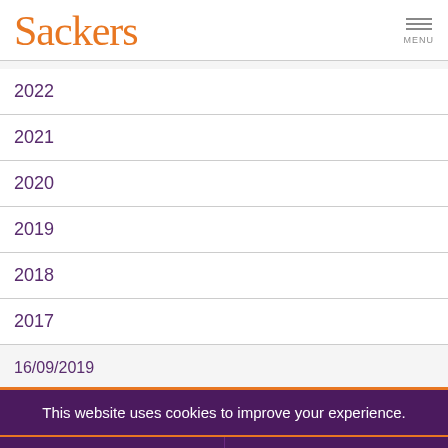Sackers
2022
2021
2020
2019
2018
2017
16/09/2019
This website uses cookies to improve your experience.